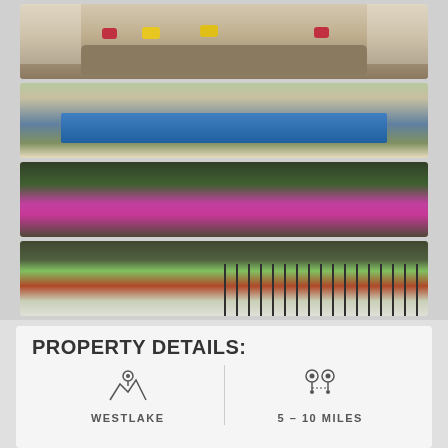[Figure (photo): Outdoor patio with curved wicker sofa, colorful yellow and red pillows, and white-framed windows in background]
[Figure (photo): Backyard swimming pool with greenery and flowering plants surrounding it, house visible in background]
[Figure (photo): Garden with large mass of bright pink/magenta flowering shrubs and trees in background]
[Figure (photo): Backyard garden with iron fence, palm-like plants, red-toned foliage, and pink flowers in background]
PROPERTY DETAILS:
WESTLAKE
5 – 10 MILES